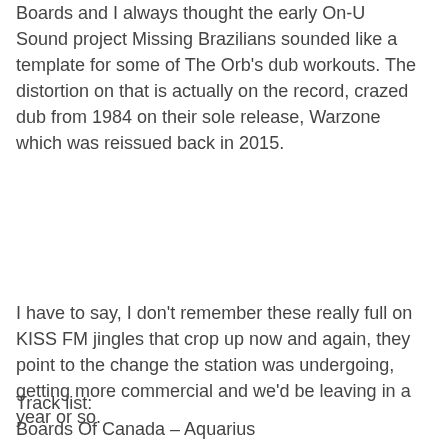Boards and I always thought the early On-U Sound project Missing Brazilians sounded like a template for some of The Orb's dub workouts. The distortion on that is actually on the record, crazed dub from 1984 on their sole release, Warzone which was reissued back in 2015.
I have to say, I don't remember these really full on KISS FM jingles that crop up now and again, they point to the change the station was undergoing, getting more commercial and we'd be leaving in a year or so.
Track list:
Boards Of Canada – Aquarius
Skylab – ? (Part ?)